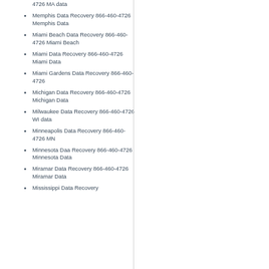Massachusetts Data Recovery 866-460-4726 MA data
Memphis Data Recovery 866-460-4726 Memphis Data
Miami Beach Data Recovery 866-460-4726 Miami Beach
Miami Data Recovery 866-460-4726 Miami Data
Miami Gardens Data Recovery 866-460-4726
Michigan Data Recovery 866-460-4726 Michigan Data
Milwaukee Data Recovery 866-460-4726 WI data
Minneapolis Data Recovery 866-460-4726 MN
Minnesota Daa Recovery 866-460-4726 Minnesota Data
Miramar Data Recovery 866-460-4726 Miramar Data
Mississippi Data Recovery